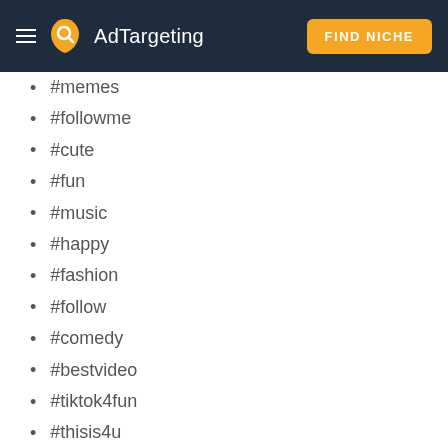AdTargeting | FIND NICHE
#memes
#followme
#cute
#fun
#music
#happy
#fashion
#follow
#comedy
#bestvideo
#tiktok4fun
#thisis4u
#loveyoutiktok
According to the latest data provided by TikTok, more than 50% of creators participated in at least